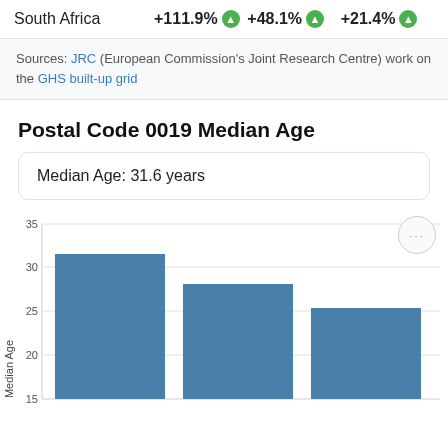South Africa   +111.9%   +48.1%   +21.4%
Sources: JRC (European Commission's Joint Research Centre) work on the GHS built-up grid
Postal Code 0019 Median Age
Median Age: 31.6 years
[Figure (bar-chart): Median Age]